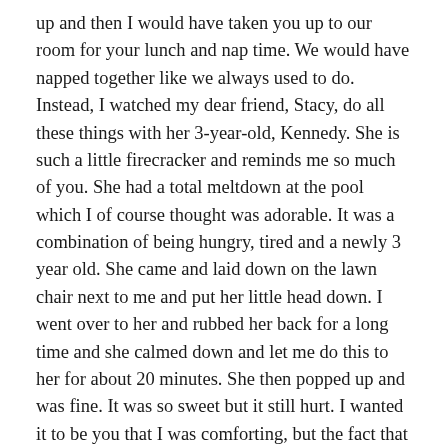up and then I would have taken you up to our room for your lunch and nap time. We would have napped together like we always used to do. Instead, I watched my dear friend, Stacy, do all these things with her 3-year-old, Kennedy. She is such a little firecracker and reminds me so much of you. She had a total meltdown at the pool which I of course thought was adorable. It was a combination of being hungry, tired and a newly 3 year old. She came and laid down on the lawn chair next to me and put her little head down. I went over to her and rubbed her back for a long time and she calmed down and let me do this to her for about 20 minutes. She then popped up and was fine. It was so sweet but it still hurt. I wanted it to be you that I was comforting, but the fact that Kennedy is slowly letting me into her little world feels good to me. We spent the rest of the day at the pool and I then took your brothers, Jake and Carter over to the grocery store to cash in the recycling